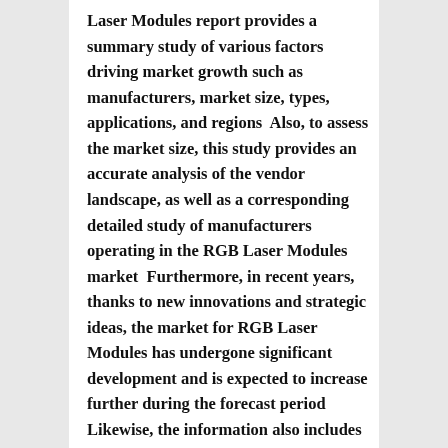Laser Modules report provides a summary study of various factors driving market growth such as manufacturers, market size, types, applications, and regions  Also, to assess the market size, this study provides an accurate analysis of the vendor landscape, as well as a corresponding detailed study of manufacturers operating in the RGB Laser Modules market  Furthermore, in recent years, thanks to new innovations and strategic ideas, the market for RGB Laser Modules has undergone significant development and is expected to increase further during the forecast period  Likewise, the information also includes the different regions where the global market RGB Laser Modules has